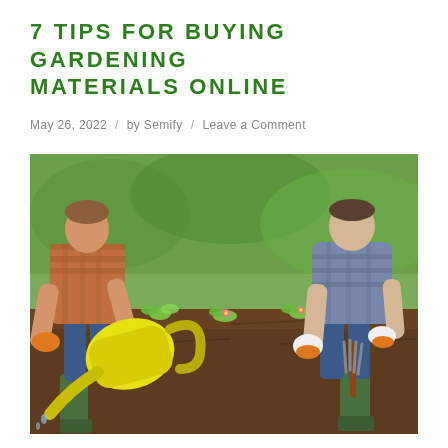7 TIPS FOR BUYING GARDENING MATERIALS ONLINE
May 26, 2022  /  by Semify  /  Leave a Comment
[Figure (photo): Two people gardening outdoors in a soil bed. One person on the left wears a plaid shirt, jeans, and green rubber boots, and holds a yellow watering can over small green seedlings. The other person on the right wears a plaid shirt, jeans, and green rubber boots, and holds an orange garden fork/cultivator near the soil. Both wear gardening gloves. Background shows blurred green garden vegetation.]